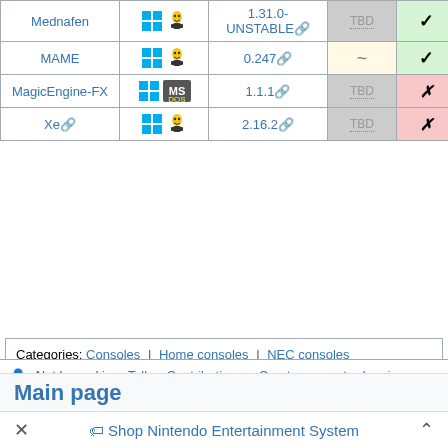| Name | OS | Version | Accuracy | Free | Lic |
| --- | --- | --- | --- | --- | --- |
| Mednafen | Windows Linux | 1.31.0-UNSTABLE | TBD | ✓ | Mid |
| MAME | Windows Linux | 0.247 | ~ | ✓ | M |
| MagicEngine-FX | Windows MSDOS | 1.1.1 | TBD | ✗ | L |
| Xe | Windows Linux | 2.16.2 | TBD | ✗ |  |
Categories: Consoles | Home consoles | NEC consoles | Fifth-generation video game consoles | PC-FX emulators
Not logged in  Talk  Contributions  Create account  Log in
Main page
Shop Nintendo Entertainment System